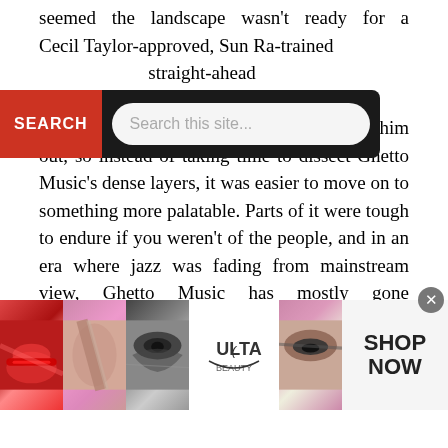seemed the landscape wasn't ready for a Cecil Taylor-approved, Sun Ra-trained straight-ahead concert halls and on the street. The jazz police couldn't figure him out, so instead of taking time to dissect Ghetto Music's dense layers, it was easier to move on to something more palatable. Parts of it were tough to endure if you weren't of the people, and in an era where jazz was fading from mainstream view, Ghetto Music has mostly gone unappreciated.
Ghetto Music was the genre's future, and would go on to influence several like-minded bandleaders some 50 years later
[Figure (screenshot): Search bar overlay with red SEARCH button on left and rounded text input field reading 'Search this site...' on dark background]
[Figure (photo): Ulta Beauty advertisement banner showing makeup images: lips with red lipstick, makeup brush, eye with dramatic makeup, Ulta Beauty logo, smoky eye closeup, and SHOP NOW text on the right]